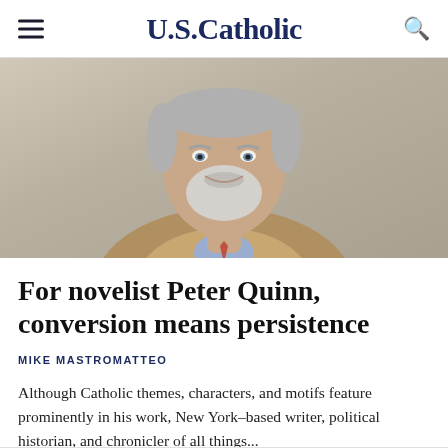U.S.Catholic
[Figure (photo): Portrait photo of a middle-aged man with gray beard and mustache, wearing a tan blazer and light blue shirt, smiling, photographed outdoors against a stone background.]
For novelist Peter Quinn, conversion means persistence
MIKE MASTROMATTEO
Although Catholic themes, characters, and motifs feature prominently in his work, New York–based writer, political historian, and chronicler of all things...